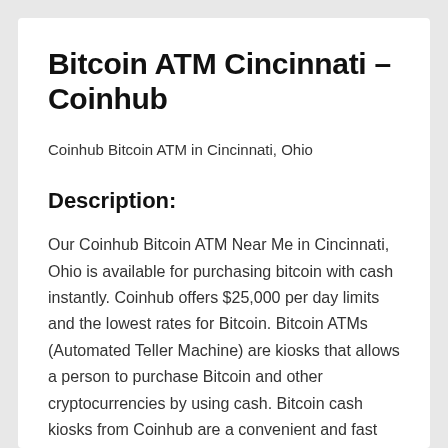Bitcoin ATM Cincinnati – Coinhub
Coinhub Bitcoin ATM in Cincinnati, Ohio
Description:
Our Coinhub Bitcoin ATM Near Me in Cincinnati, Ohio is available for purchasing bitcoin with cash instantly. Coinhub offers $25,000 per day limits and the lowest rates for Bitcoin. Bitcoin ATMs (Automated Teller Machine) are kiosks that allows a person to purchase Bitcoin and other cryptocurrencies by using cash. Bitcoin cash kiosks from Coinhub are a convenient and fast way to purchase Bitcoin and receive it in minutes directly into your wallet. Coinhub Bitcoin machines can